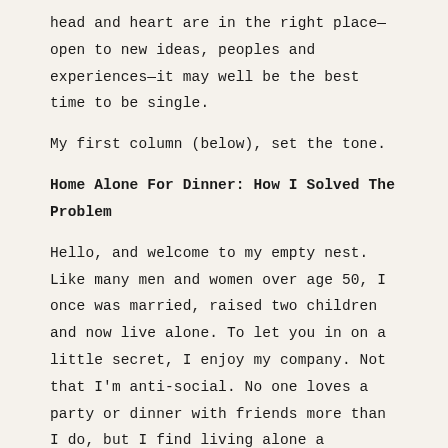head and heart are in the right place—open to new ideas, peoples and experiences—it may well be the best time to be single.
My first column (below), set the tone.
Home Alone For Dinner: How I Solved The Problem
Hello, and welcome to my empty nest. Like many men and women over age 50, I once was married, raised two children and now live alone. To let you in on a little secret, I enjoy my company. Not that I'm anti-social. No one loves a party or dinner with friends more than I do, but I find living alone a rewarding experience.